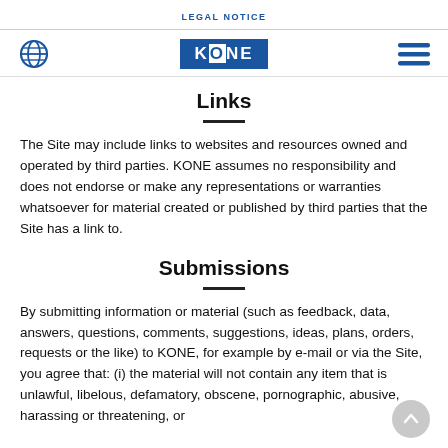LEGAL NOTICE
[Figure (logo): KONE logo and navigation bar with globe icon and hamburger menu]
Links
The Site may include links to websites and resources owned and operated by third parties. KONE assumes no responsibility and does not endorse or make any representations or warranties whatsoever for material created or published by third parties that the Site has a link to.
Submissions
By submitting information or material (such as feedback, data, answers, questions, comments, suggestions, ideas, plans, orders, requests or the like) to KONE, for example by e-mail or via the Site, you agree that: (i) the material will not contain any item that is unlawful, libelous, defamatory, obscene, pornographic, abusive, harassing or threatening, or